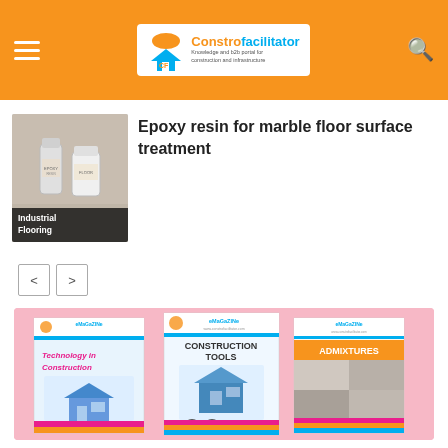Constrofacilitator - Knowledge and b2b portal for construction and infrastructure
[Figure (screenshot): Thumbnail image of epoxy resin product with label 'Industrial Flooring']
Epoxy resin for marble floor surface treatment
< (previous page button)
> (next page button)
[Figure (photo): Three eMagazine covers: Technology in Construction, Construction Tools, Admixtures — displayed on pink background]